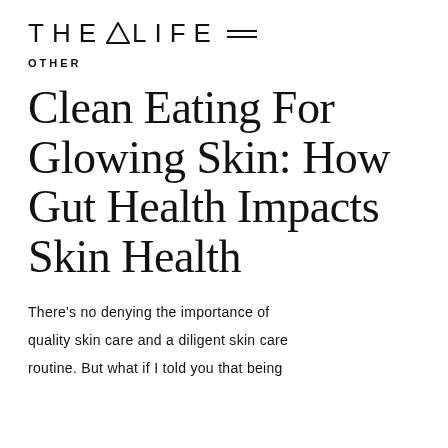THE △ LIFE ≡
OTHER
Clean Eating For Glowing Skin: How Gut Health Impacts Skin Health
There's no denying the importance of quality skin care and a diligent skin care routine. But what if I told you that being